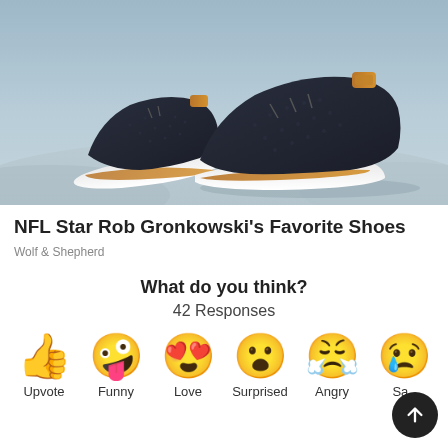[Figure (photo): Two dark navy blue knit sneakers with white soles and tan/brown leather accents, photographed on a light blue-grey textured surface background.]
NFL Star Rob Gronkowski's Favorite Shoes
Wolf & Shepherd
What do you think?
42 Responses
Upvote
Funny
Love
Surprised
Angry
Sad